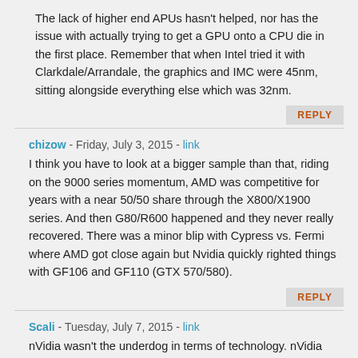The lack of higher end APUs hasn't helped, nor has the issue with actually trying to get a GPU onto a CPU die in the first place. Remember that when Intel tried it with Clarkdale/Arrandale, the graphics and IMC were 45nm, sitting alongside everything else which was 32nm.
REPLY
chizow - Friday, July 3, 2015 - link
I think you have to look at a bigger sample than that, riding on the 9000 series momentum, AMD was competitive for years with a near 50/50 share through the X800/X1900 series. And then G80/R600 happened and they never really recovered. There was a minor blip with Cypress vs. Fermi where AMD got close again but Nvidia quickly righted things with GF106 and GF110 (GTX 570/580).
REPLY
Scali - Tuesday, July 7, 2015 - link
nVidia wasn't the underdog in terms of technology. nVidia was the choice of gamers. ATi was big because they had been around since the early days of CGA and